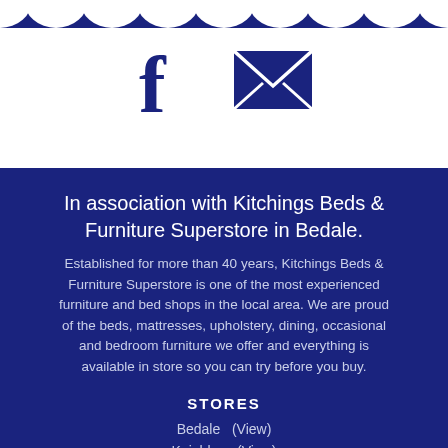[Figure (illustration): Social media icons: Facebook 'f' logo and envelope/mail icon, both in dark navy blue, on white background with scalloped top edge]
In association with Kitchings Beds & Furniture Superstore in Bedale.
Established for more than 40 years, Kitchings Beds & Furniture Superstore is one of the most experienced furniture and bed shops in the local area. We are proud of the beds, mattresses, upholstery, dining, occasional and bedroom furniture we offer and everything is available in store so you can try before you buy.
STORES
Bedale  (View)
Keighley  (View)
Pontefract  (View)